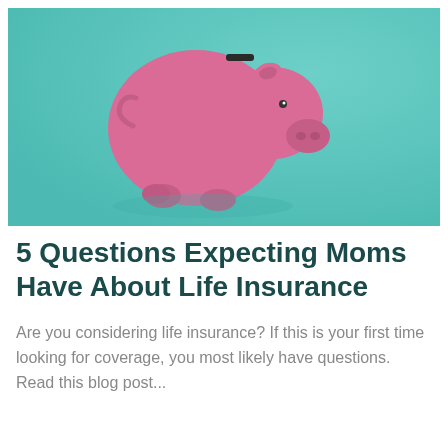[Figure (photo): A pink piggy bank on a teal/mint green background, photographed from above at an angle. The piggy bank faces right and has a coin slot on top.]
5 Questions Expecting Moms Have About Life Insurance
Are you considering life insurance? If this is your first time looking for coverage, you most likely have questions. Read this blog post...